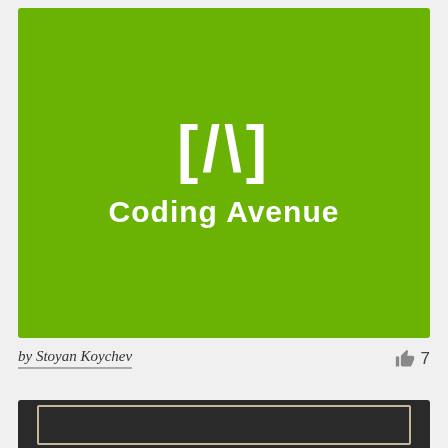[Figure (logo): Coding Avenue logo on green background. White bracket-A-bracket symbol [/\] above bold white text 'Coding Avenue'.]
by Stoyan Koychev
👍 7
[Figure (screenshot): Dark card with tan/beige inner border frame, partially visible at bottom of page.]